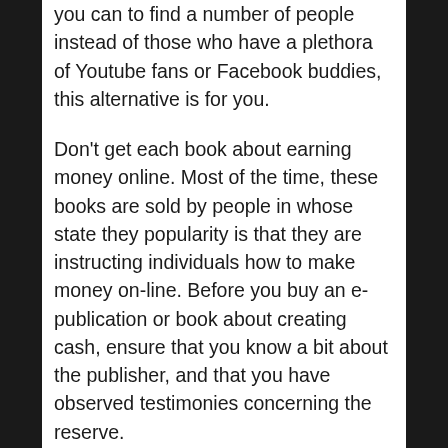you can to find a number of people instead of those who have a plethora of Youtube fans or Facebook buddies, this alternative is for you.
Don't get each book about earning money online. Most of the time, these books are sold by people in whose state they popularity is that they are instructing individuals how to make money on-line. Before you buy an e-publication or book about creating cash, ensure that you know a bit about the publisher, and that you have observed testimonies concerning the reserve.
Success is one thing many of us dream about, whether it be in your “actual life” tasks or even in on the internet virtual work. To get it, we must teach yourself on our area of work. When that work is online, this information has all that you